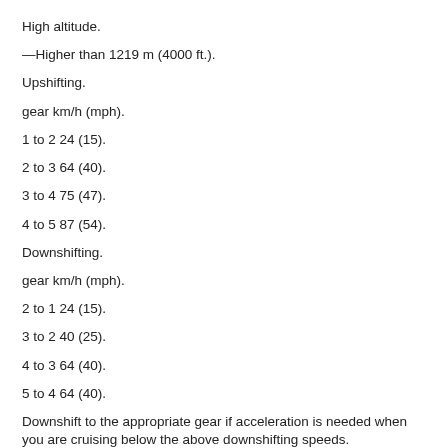High altitude.
—Higher than 1219 m (4000 ft.).
Upshifting.
gear km/h (mph).
1 to 2 24 (15).
2 to 3 64 (40).
3 to 4 75 (47).
4 to 5 87 (54).
Downshifting.
gear km/h (mph).
2 to 1 24 (15).
3 to 2 40 (25).
4 to 3 64 (40).
5 to 4 64 (40).
Downshift to the appropriate gear if acceleration is needed when you are cruising below the above downshifting speeds.
Upshifting to a higher gear, downshifting to a lower gear in excess...